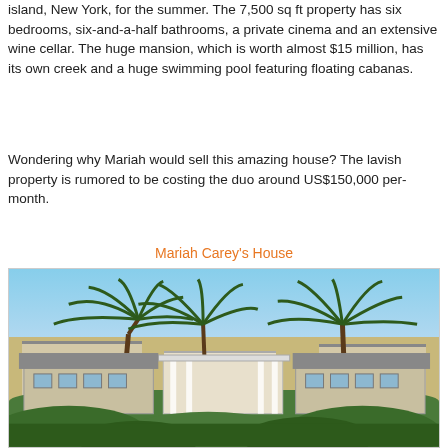island, New York, for the summer. The 7,500 sq ft property has six bedrooms, six-and-a-half bathrooms, a private cinema and an extensive wine cellar. The huge mansion, which is worth almost $15 million, has its own creek and a huge swimming pool featuring floating cabanas.
Wondering why Mariah would sell this amazing house? The lavish property is rumored to be costing the duo around US$150,000 per-month.
Mariah Carey's House
[Figure (photo): Exterior photo of a large luxury mansion with white columns and covered portico, surrounded by tall palm trees and tropical greenery, under a clear blue sky.]